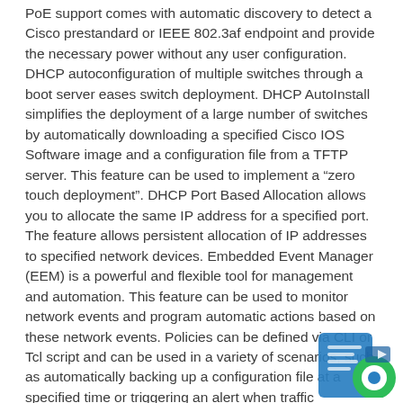PoE support comes with automatic discovery to detect a Cisco prestandard or IEEE 802.3af endpoint and provide the necessary power without any user configuration. DHCP autoconfiguration of multiple switches through a boot server eases switch deployment. DHCP AutoInstall simplifies the deployment of a large number of switches by automatically downloading a specified Cisco IOS Software image and a configuration file from a TFTP server. This feature can be used to implement a “zero touch deployment”. DHCP Port Based Allocation allows you to allocate the same IP address for a specified port. The feature allows persistent allocation of IP addresses to specified network devices. Embedded Event Manager (EEM) is a powerful and flexible tool for management and automation. This feature can be used to monitor network events and program automatic actions based on these network events. Policies can be defined via CLI or Tcl script and can be used in a variety of scenarios, such as automatically backing up a configuration file at a specified time or triggering an alert when traffic congestion crosses a specified threshold. EEM requires the IP Service license. Configuration Replace and Rollback simplifies configuration management by allowing you to rollback configuration changes. This feature allows you to replace a
[Figure (logo): Cisco or related product logo/watermark in bottom-right corner, showing a blue shield/document icon and green circular badge with white circle, partially overlapping the text area.]